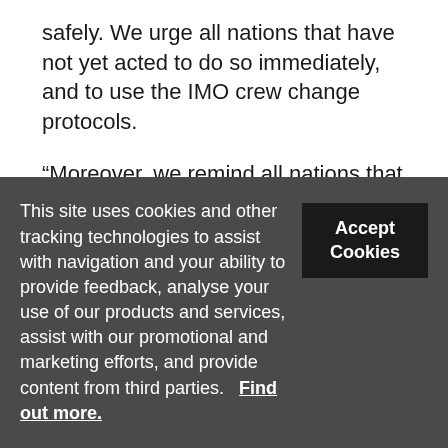safely. We urge all nations that have not yet acted to do so immediately, and to use the IMO crew change protocols.
“Moreover, we remind all nations that seafarers are key workers and need to be designated as such.”
Meanwhile, the UK government used the occasion to announce that it would hold the first international summit on the repatriation of stranded crews
This site uses cookies and other tracking technologies to assist with navigation and your ability to provide feedback, analyse your use of our products and services, assist with our promotional and marketing efforts, and provide content from third parties.  Find out more.